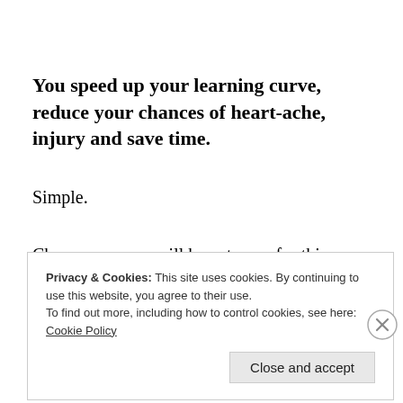You speed up your learning curve, reduce your chances of heart-ache, injury and save time.
Simple.
Chances are you will have to pay for this service, but
Privacy & Cookies: This site uses cookies. By continuing to use this website, you agree to their use. To find out more, including how to control cookies, see here: Cookie Policy
Close and accept